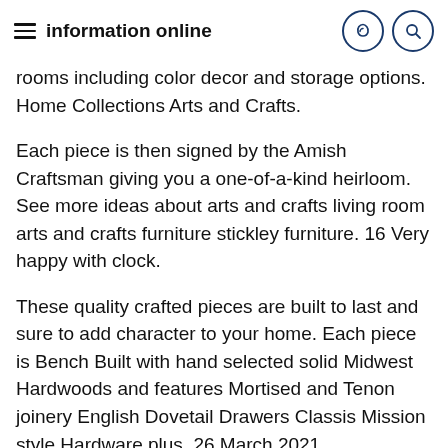information online
rooms including color decor and storage options. Home Collections Arts and Crafts.
Each piece is then signed by the Amish Craftsman giving you a one-of-a-kind heirloom. See more ideas about arts and crafts living room arts and crafts furniture stickley furniture. 16 Very happy with clock.
These quality crafted pieces are built to last and sure to add character to your home. Each piece is Bench Built with hand selected solid Midwest Hardwoods and features Mortised and Tenon joinery English Dovetail Drawers Classis Mission style Hardware plus. 26 March 2021.
Follow these links to learn more about the pieces you see here. You may have noticed that the Arts and Crafts